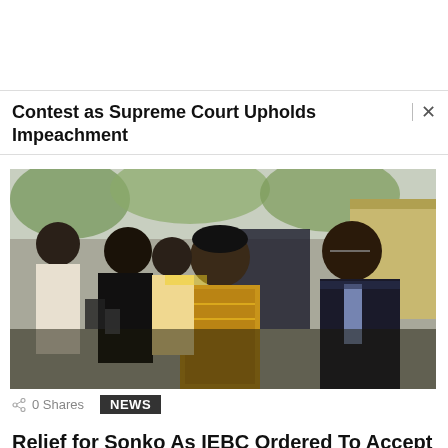Contest as Supreme Court Upholds Impeachment
[Figure (photo): Group of people standing outdoors; a man in the center wearing a black cap and gold/black patterned shirt, another man in a suit and tie to his right, and several others behind them.]
0 Shares
NEWS
Relief for Sonko As IEBC Ordered To Accept His Nomination